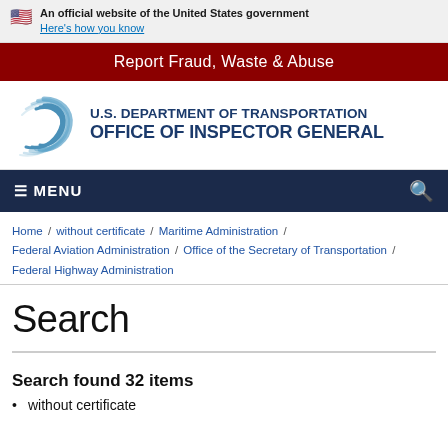An official website of the United States government
Here's how you know
Report Fraud, Waste & Abuse
[Figure (logo): U.S. Department of Transportation Office of Inspector General logo with circular swirl emblem]
MENU
Home / without certificate / Maritime Administration / Federal Aviation Administration / Office of the Secretary of Transportation / Federal Highway Administration
Search
Search found 32 items
without certificate